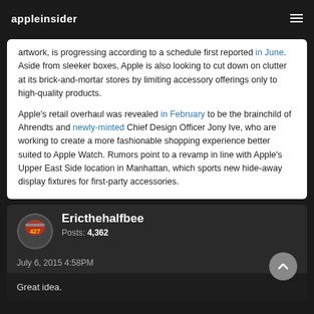appleinsider
artwork, is progressing according to a schedule first reported in June. Aside from sleeker boxes, Apple is also looking to cut down on clutter at its brick-and-mortar stores by limiting accessory offerings only to high-quality products.
Apple's retail overhaul was revealed in February to be the brainchild of Ahrendts and newly-minted Chief Design Officer Jony Ive, who are working to create a more fashionable shopping experience better suited to Apple Watch. Rumors point to a revamp in line with Apple's Upper East Side location in Manhattan, which sports new hide-away display fixtures for first-party accessories.
Ericthehalfbee
Posts: 4,362
July 6, 2015 4:58PM
Great idea.